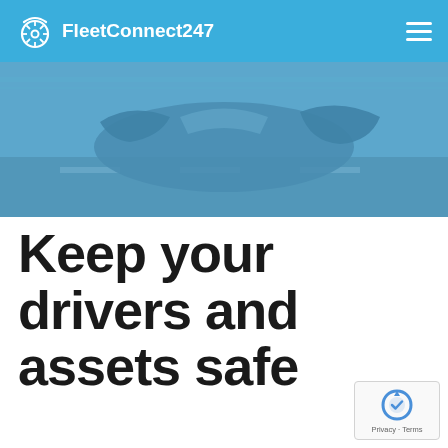FleetConnect247
[Figure (photo): A wrecked or damaged vehicle shown from the side, tinted with a blue overlay, highway road in background]
Keep your drivers and assets safe